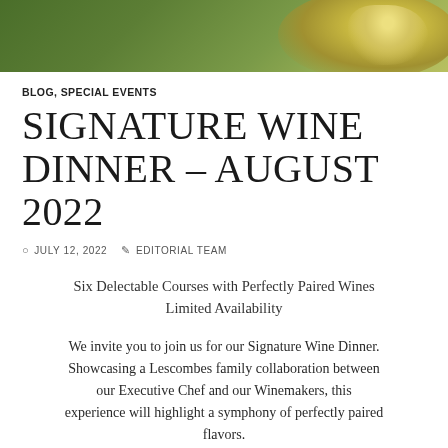[Figure (photo): Hero image of a wine glass with golden white wine against a green blurred background, positioned in the upper right corner]
BLOG, SPECIAL EVENTS
SIGNATURE WINE DINNER – AUGUST 2022
JULY 12, 2022   EDITORIAL TEAM
Six Delectable Courses with Perfectly Paired Wines
Limited Availability
We invite you to join us for our Signature Wine Dinner. Showcasing a Lescombes family collaboration between our Executive Chef and our Winemakers, this experience will highlight a symphony of perfectly paired flavors.